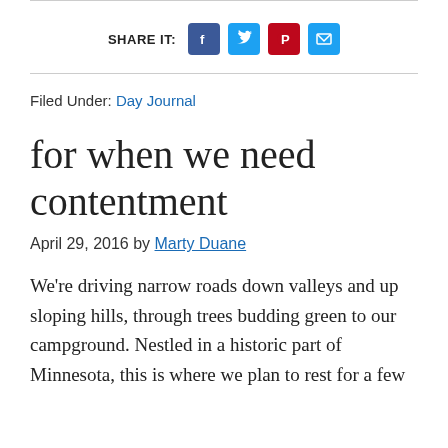[Figure (infographic): Share It social media buttons row: Facebook (blue), Twitter (light blue), Pinterest (red), Email (blue), preceded by bold label SHARE IT:]
Filed Under: Day Journal
for when we need contentment
April 29, 2016 by Marty Duane
We're driving narrow roads down valleys and up sloping hills, through trees budding green to our campground. Nestled in a historic part of Minnesota, this is where we plan to rest for a few days, to restore and be nourished, to rest.